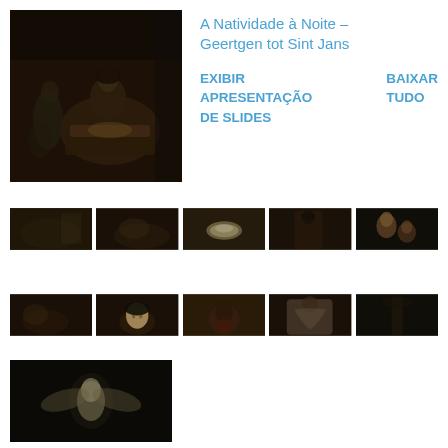[Figure (photo): Large dark painting detail showing a Nativity scene at night — the Virgin Mary with the Christ child in a manger, figures in shadow with subtle warm light]
A Natividade à Noite – Geertgen tot Sint Jans
EXIBIR APRESENTAÇÃO DE SLIDES    BAIXAR TUDO
[Figure (photo): Dark detail of the painting showing landscape/background with shadowy figures]
[Figure (photo): Dark detail showing an interior or exterior landscape scene]
[Figure (photo): Detail of the Christ child lying in the manger, glowing white against dark background]
[Figure (photo): Detail showing the Virgin Mary in profile, looking down, wearing dark robes]
[Figure (photo): Detail showing two figures — an older and younger person — in the dark]
[Figure (photo): Dark detail of another section of the painting]
[Figure (photo): Detail showing the face of the Virgin Mary, warm light on pale skin, dark headdress]
[Figure (photo): Dark detail with a small figure in reddish tones]
[Figure (photo): Detail showing a draped robed figure, grey/brown fabric]
[Figure (photo): Dark detail showing tree or architectural element]
[Figure (photo): Detail showing a bright angelic figure or light source against very dark background]